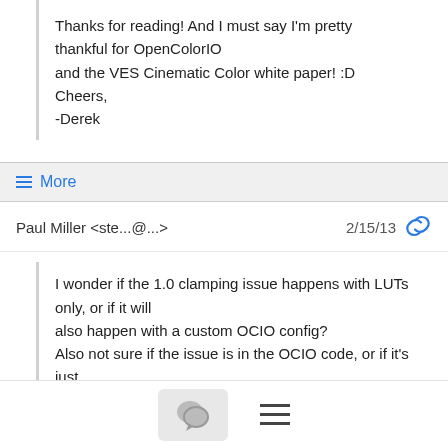Thanks for reading!  And I must say I'm pretty thankful for OpenColorIO
and the VES Cinematic Color white paper! :D
Cheers,
-Derek
≡ More
Paul Miller <ste...@...>    2/15/13
I wonder if the 1.0 clamping issue happens with LUTs only, or if it will
also happen with a custom OCIO config?
Also not sure if the issue is in the OCIO code, or if it's just in